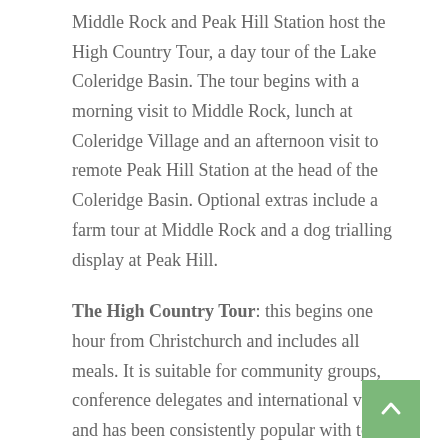Middle Rock and Peak Hill Station host the High Country Tour, a day tour of the Lake Coleridge Basin. The tour begins with a morning visit to Middle Rock, lunch at Coleridge Village and an afternoon visit to remote Peak Hill Station at the head of the Coleridge Basin. Optional extras include a farm tour at Middle Rock and a dog trialling display at Peak Hill.
The High Country Tour: this begins one hour from Christchurch and includes all meals. It is suitable for community groups, conference delegates and international visitors and has been consistently popular with tour groups for many years